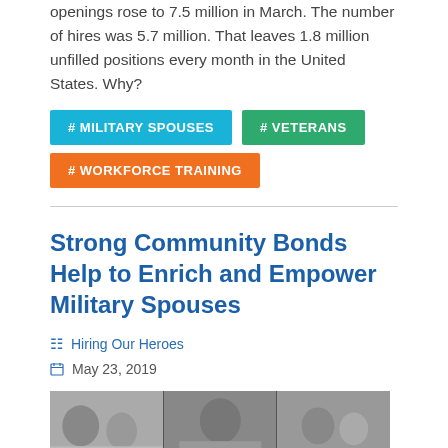openings rose to 7.5 million in March. The number of hires was 5.7 million. That leaves 1.8 million unfilled positions every month in the United States. Why?
#MILITARY SPOUSES
#VETERANS
#WORKFORCE TRAINING
Strong Community Bonds Help to Enrich and Empower Military Spouses
Hiring Our Heroes
May 23, 2019
[Figure (photo): Three-panel black and white photo collage with a purple banner showing '2019' at the bottom]